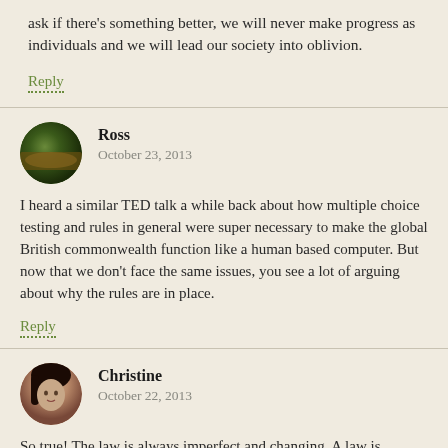ask if there's something better, we will never make progress as individuals and we will lead our society into oblivion.
Reply
Ross
October 23, 2013
I heard a similar TED talk a while back about how multiple choice testing and rules in general were super necessary to make the global British commonwealth function like a human based computer. But now that we don't face the same issues, you see a lot of arguing about why the rules are in place.
Reply
Christine
October 22, 2013
So true! The law is always imperfect and changing. A law is sometimes good, sometimes hateful and sometimes because we don't have the resources to do the right thing yet (or perceived resources).